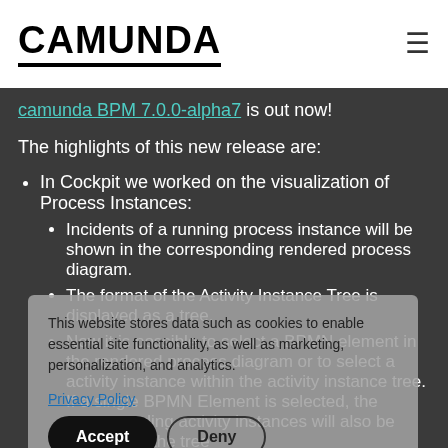CAMUNDA
camunda BPM 7.0.0-alpha7 is out now!
The highlights of this new release are:
In Cockpit we worked on the visualization of Process Instances:
Incidents of a running process instance will be shown in the corresponding rendered process diagram.
The format of the Activity Instance Tree is displayed as a tree.
Now it is possible to select a BPMN element in the rendered process diagram or to select a activity instance within the activity instance tree. If a single BPMN Element is selected, the corresponding activity instances will also be selected in the tree
This website stores data such as cookies to enable essential site functionality, as well as marketing, personalization, and analytics.
Privacy Policy
Accept | Deny